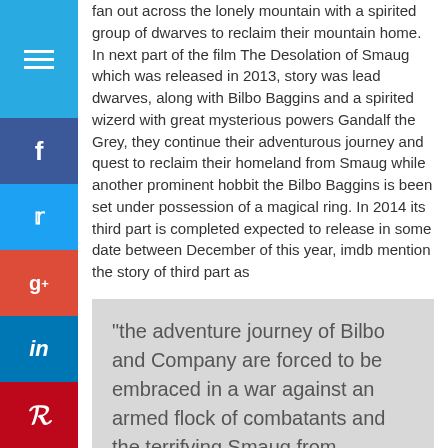fan out across the lonely mountain with a spirited group of dwarves to reclaim their mountain home. In next part of the film The Desolation of Smaug which was released in 2013, story was lead dwarves, along with Bilbo Baggins and a spirited wizerd with great mysterious powers Gandalf the Grey, they continue their adventurous journey and quest to reclaim their homeland from Smaug while another prominent hobbit the Bilbo Baggins is been set under possession of a magical ring. In 2014 its third part is completed expected to release in some date between December of this year, imdb mention the story of third part as
“the adventure journey of Bilbo and Company are forced to be embraced in a war against an armed flock of combatants and the terrifying Smaug from acquiring a kingdom of treasure and obliterating all of Middle-Earth.”